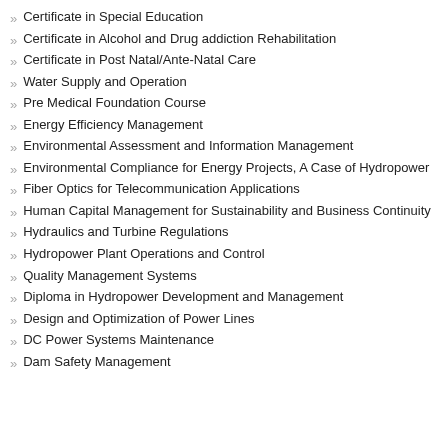Certificate in Special Education
Certificate in Alcohol and Drug addiction Rehabilitation
Certificate in Post Natal/Ante-Natal Care
Water Supply and Operation
Pre Medical Foundation Course
Energy Efficiency Management
Environmental Assessment and Information Management
Environmental Compliance for Energy Projects, A Case of Hydropower
Fiber Optics for Telecommunication Applications
Human Capital Management for Sustainability and Business Continuity
Hydraulics and Turbine Regulations
Hydropower Plant Operations and Control
Quality Management Systems
Diploma in Hydropower Development and Management
Design and Optimization of Power Lines
DC Power Systems Maintenance
Dam Safety Management